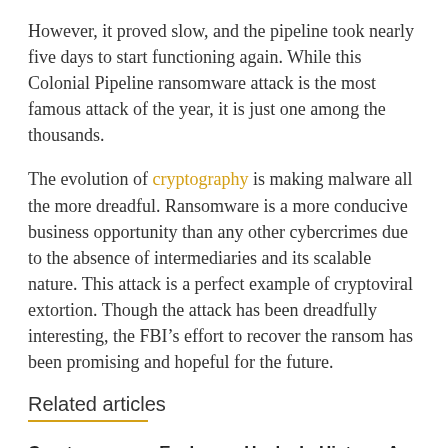However, it proved slow, and the pipeline took nearly five days to start functioning again. While this Colonial Pipeline ransomware attack is the most famous attack of the year, it is just one among the thousands.
The evolution of cryptography is making malware all the more dreadful. Ransomware is a more conducive business opportunity than any other cybercrimes due to the absence of intermediaries and its scalable nature. This attack is a perfect example of cryptoviral extortion. Though the attack has been dreadfully interesting, the FBI’s effort to recover the ransom has been promising and hopeful for the future.
Related articles
Cryptocurrency Exchange Hacks In History: An Updated List 2022 – Coin Culture
AUGUST 26, 2022